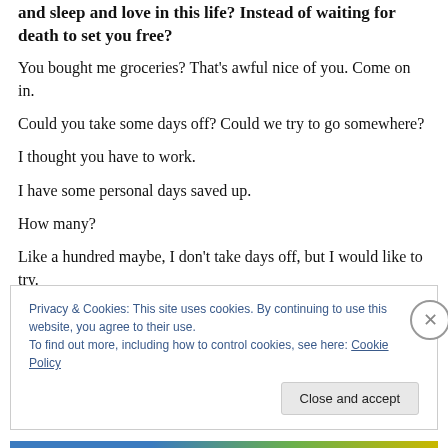and sleep and love in this life? Instead of waiting for death to set you free?
You bought me groceries? That's awful nice of you. Come on in.
Could you take some days off? Could we try to go somewhere?
I thought you have to work.
I have some personal days saved up.
How many?
Like a hundred maybe, I don't take days off, but I would like to try.
Privacy & Cookies: This site uses cookies. By continuing to use this website, you agree to their use.
To find out more, including how to control cookies, see here: Cookie Policy